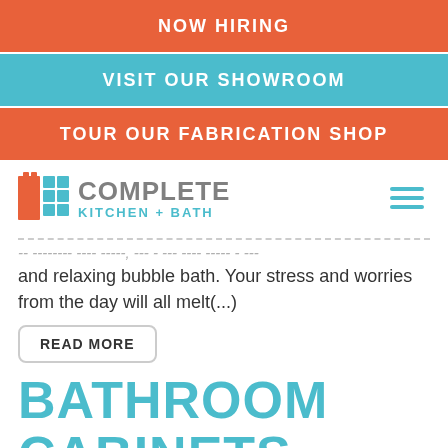NOW HIRING
VISIT OUR SHOWROOM
TOUR OUR FABRICATION SHOP
[Figure (logo): Complete Kitchen + Bath logo with orange and teal icon and hamburger menu]
and relaxing bubble bath. Your stress and worries from the day will all melt(...)
READ MORE
BATHROOM CABINETS